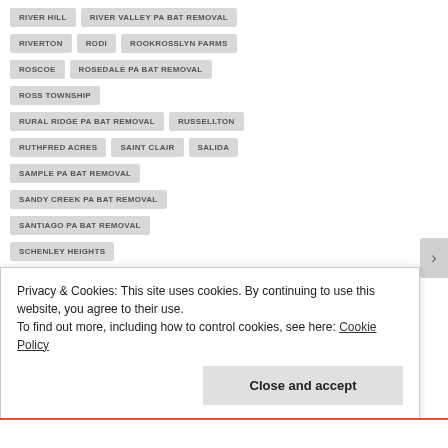RIVER HILL
RIVER VALLEY PA BAT REMOVAL
RIVERTON
RODI
ROOKROSSLYN FARMS
ROSCOE
ROSEDALE PA BAT REMOVAL
ROSS TOWNSHIP
RURAL RIDGE PA BAT REMOVAL
RUSSELLTON
RUTHFRED ACRES
SAINT CLAIR
SALIDA
SAMPLE PA BAT REMOVAL
SANDY CREEK PA BAT REMOVAL
SANTIAGO PA BAT REMOVAL
SCHENLEY HEIGHTS
Privacy & Cookies: This site uses cookies. By continuing to use this website, you agree to their use. To find out more, including how to control cookies, see here: Cookie Policy
Close and accept